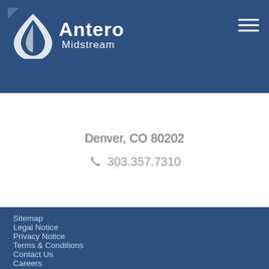[Figure (logo): Antero Midstream logo — blue water drop icon with white 'Antero Midstream' wordmark on dark blue header background]
Denver, CO 80202
303.357.7310
Sitemap
Legal Notice
Privacy Notice
Terms & Conditions
Contact Us
Careers
Antero Resources Corporation
© Copyright 2002-2022 Antero Midstream Corporation